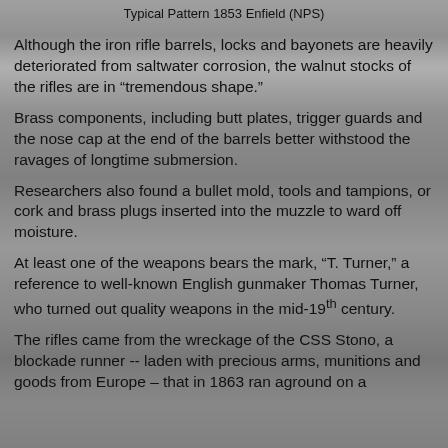Typical Pattern 1853 Enfield (NPS)
Although the iron rifle barrels, locks and bayonets are heavily deteriorated from saltwater corrosion, the walnut stocks of the rifles are in “tremendous shape.”
Brass components, including butt plates, trigger guards and the nose cap at the end of the barrels better withstood the ravages of longtime submersion.
Researchers also found a bullet mold, tools and tampions, or cork and brass plugs inserted into the muzzle to ward off moisture.
At least one of the weapons bears the mark, “T. Turner,” a reference to well-known English gunmaker Thomas Turner, who turned out quality weapons in the mid-19th century.
The rifles came from the wreckage of the CSS Stono, a blockade runner -- laden with precious arms, munitions and goods from Europe – that in 1863 ran aground on a